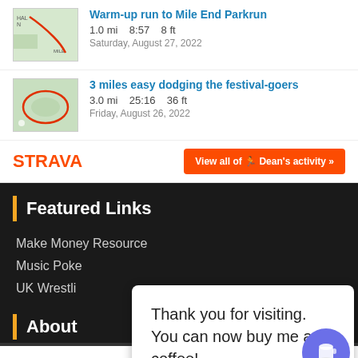Warm-up run to Mile End Parkrun — 1.0 mi  8:57  8 ft — Saturday, August 27, 2022
3 miles easy dodging the festival-goers — 3.0 mi  25:16  36 ft — Friday, August 26, 2022
[Figure (screenshot): Strava widget footer with logo and View all of Dean's activity button]
Featured Links
Make Money Resource
Music Poke
UK Wrestli…
About
Thank you for visiting. You can now buy me a coffee!